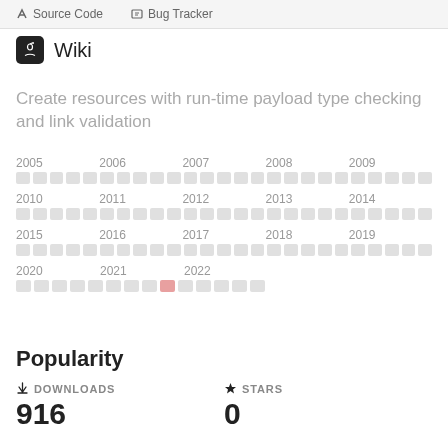Source Code  Bug Tracker
Wiki
Create resources with run-time payload type checking and link validation
[Figure (infographic): Activity calendar grid showing years 2005-2022 as rows of small blocks colored in light grey (mostly inactive) with one highlighted block in pink/rose color in the 2020-2022 row, indicating activity in a specific month.]
Popularity
DOWNLOADS
916
STARS
0